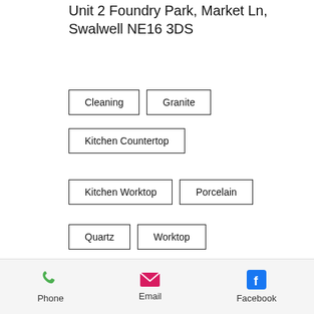Unit 2 Foundry Park, Market Ln, Swalwell NE16 3DS
Cleaning
Granite
Kitchen Countertop
Kitchen Worktop
Porcelain
Quartz
Worktop
Granite • Quartz
[Figure (other): Social share icons: Facebook, Twitter, LinkedIn, link]
[Figure (other): Scroll to top button with chevron up icon]
[Figure (other): Chat/comment icon]
Phone  Email  Facebook